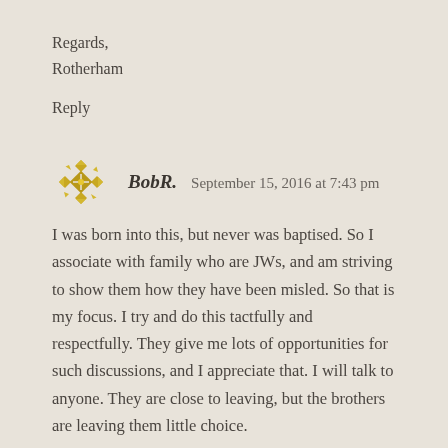Regards,
Rotherham
Reply
[Figure (logo): Decorative golden/yellow snowflake or geometric cross pattern avatar icon]
BobR.    September 15, 2016 at 7:43 pm
I was born into this, but never was baptised. So I associate with family who are JWs, and am striving to show them how they have been misled. So that is my focus. I try and do this tactfully and respectfully. They give me lots of opportunities for such discussions, and I appreciate that. I will talk to anyone. They are close to leaving, but the brothers are leaving them little choice.